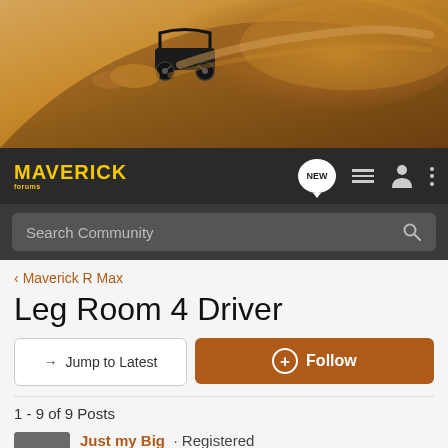[Figure (photo): Off-road vehicle (UTV/buggy) kicking up a large cloud of sand/dust on a desert dune, warm orange-brown tones]
MAVERICK forums | NEW | menu | user | more options | Search Community
< Maverick R Max
Leg Room 4 Driver
→ Jump to Latest
+ Follow
1 - 9 of 9 Posts
Just my Big · Registered
Joined Apr 18, 2014 · 25 Posts